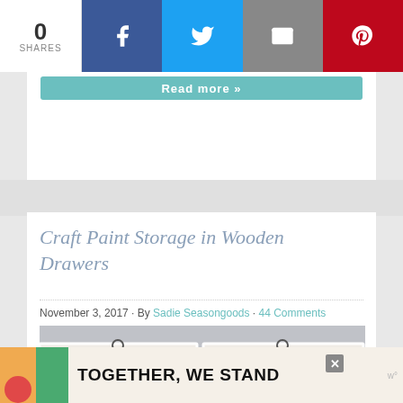0 SHARES — social share bar with Facebook, Twitter, Email, Pinterest buttons
[Figure (screenshot): Teal Read more button on white card background]
Craft Paint Storage in Wooden Drawers
November 3, 2017 · By Sadie Seasongoods · 44 Comments
[Figure (photo): Photo of craft paint bottles stored in open white wooden drawers against a gray concrete wall background]
[Figure (infographic): Advertisement banner: TOGETHER, WE STAND with colorful blocks and close button]